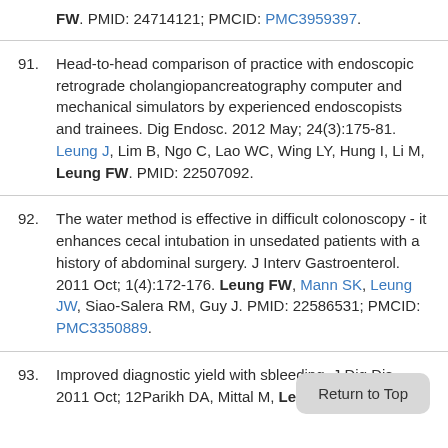FW. PMID: 24714121; PMCID: PMC3959397.
91. Head-to-head comparison of practice with endoscopic retrograde cholangiopancreatography computer and mechanical simulators by experienced endoscopists and trainees. Dig Endosc. 2012 May; 24(3):175-81. Leung J, Lim B, Ngo C, Lao WC, Wing LY, Hung I, Li M, Leung FW. PMID: 22507092.
92. The water method is effective in difficult colonoscopy - it enhances cecal intubation in unsedated patients with a history of abdominal surgery. J Interv Gastroenterol. 2011 Oct; 1(4):172-176. Leung FW, Mann SK, Leung JW, Siao-Salera RM, Guy J. PMID: 22586531; PMCID: PMC3350889.
93. Improved diagnostic yield with s... bleeding. J Dig Dis. 2011 Oct; 12... Parikh DA, Mittal M, Leung FW, Mann SK.